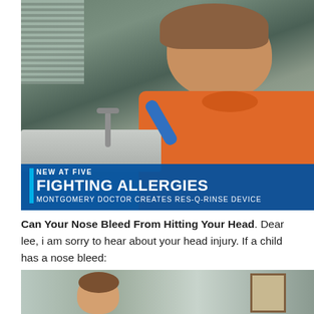[Figure (screenshot): News broadcast screenshot showing a boy in an orange shirt using what appears to be a nasal rinse device over a sink. A TV news lower-third graphic overlay reads: 'NEW AT FIVE' / 'FIGHTING ALLERGIES' / 'MONTGOMERY DOCTOR CREATES RES-Q-RINSE DEVICE']
Can Your Nose Bleed From Hitting Your Head. Dear lee, i am sorry to hear about your head injury. If a child has a nose bleed:
[Figure (screenshot): Partial screenshot at bottom of page showing another scene, partially cropped.]